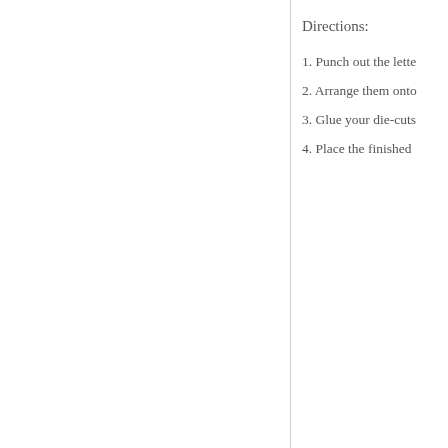Directions:
1. Punch out the lette
2. Arrange them onto
3. Glue your die-cuts
4. Place the finished